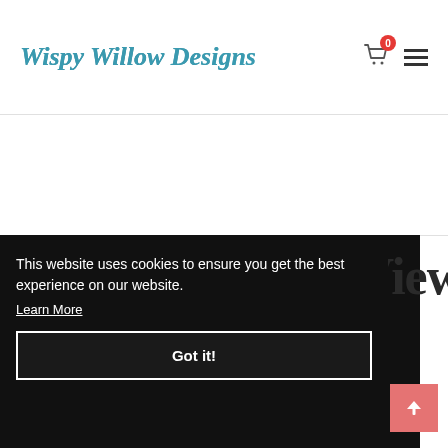Wispy Willow Designs
This website uses cookies to ensure you get the best experience on our website.
Learn More
Got it!
Recently Viewed Products